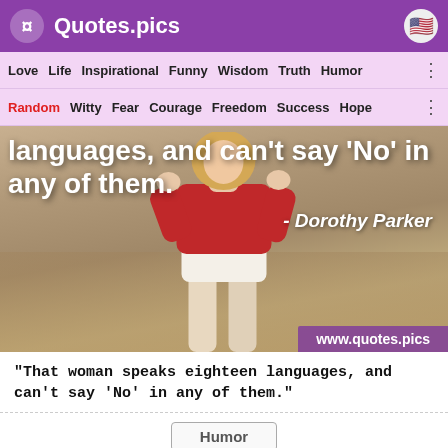Quotes.pics
Love  Life  Inspirational  Funny  Wisdom  Truth  Humor
Random  Witty  Fear  Courage  Freedom  Success  Hope
[Figure (photo): Background photo of woman in red sweater and white shorts with quote text overlay: 'languages, and can't say 'No' in any of them.' - Dorothy Parker, with www.quotes.pics watermark]
“That woman speaks eighteen languages, and can't say 'No' in any of them.”
Humor
Social share icons: WhatsApp, Pinterest, Facebook, Twitter